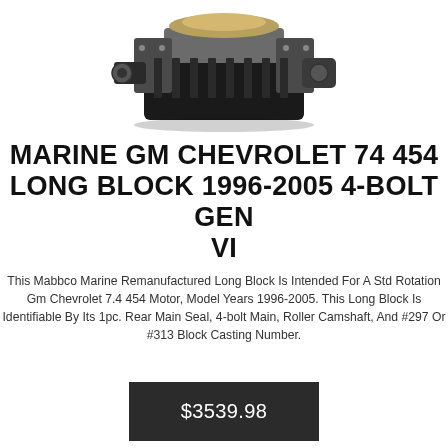[Figure (photo): Engine / marine long block assembly photograph showing a remanufactured GM Chevrolet 454 engine from a slight angle, with visible heads, intake manifold, and block.]
MARINE GM CHEVROLET 74 454 LONG BLOCK 1996-2005 4-BOLT GEN VI
This Mabbco Marine Remanufactured Long Block Is Intended For A Std Rotation Gm Chevrolet 7.4 454 Motor, Model Years 1996-2005. This Long Block Is Identifiable By Its 1pc. Rear Main Seal, 4-bolt Main, Roller Camshaft, And #297 Or #313 Block Casting Number.
$3539.98